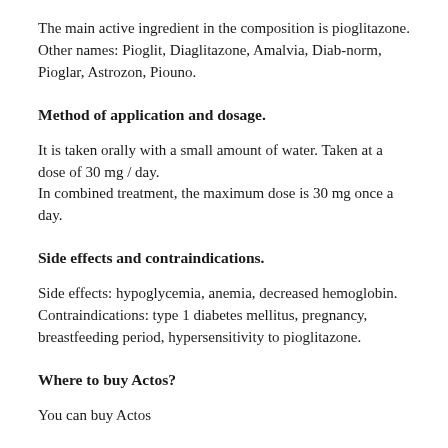The main active ingredient in the composition is pioglitazone. Other names: Pioglit, Diaglitazone, Amalvia, Diab-norm, Pioglar, Astrozon, Piouno.
Method of application and dosage.
It is taken orally with a small amount of water. Taken at a dose of 30 mg / day.
In combined treatment, the maximum dose is 30 mg once a day.
Side effects and contraindications.
Side effects: hypoglycemia, anemia, decreased hemoglobin.
Contraindications: type 1 diabetes mellitus, pregnancy, breastfeeding period, hypersensitivity to pioglitazone.
Where to buy Actos?
You can buy Actos